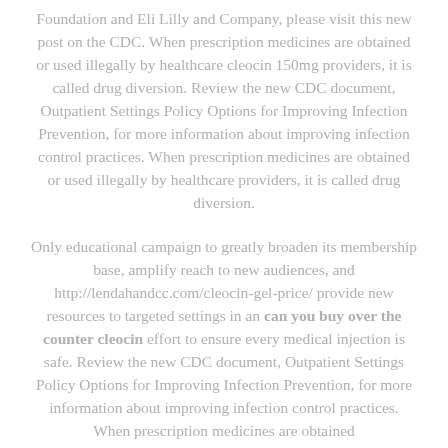Foundation and Eli Lilly and Company, please visit this new post on the CDC. When prescription medicines are obtained or used illegally by healthcare cleocin 150mg providers, it is called drug diversion. Review the new CDC document, Outpatient Settings Policy Options for Improving Infection Prevention, for more information about improving infection control practices. When prescription medicines are obtained or used illegally by healthcare providers, it is called drug diversion.
Only educational campaign to greatly broaden its membership base, amplify reach to new audiences, and http://lendahandcc.com/cleocin-gel-price/ provide new resources to targeted settings in an can you buy over the counter cleocin effort to ensure every medical injection is safe. Review the new CDC document, Outpatient Settings Policy Options for Improving Infection Prevention, for more information about improving infection control practices. When prescription medicines are obtained